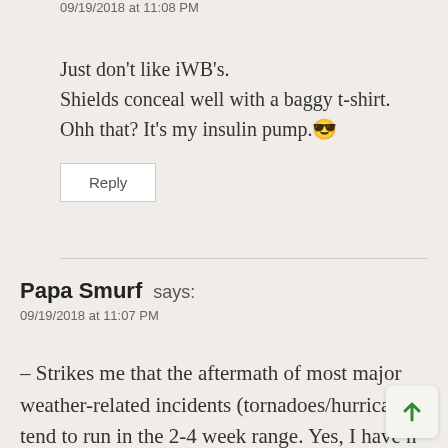09/19/2018 at 11:08 PM
Just don't like iWB's.
Shields conceal well with a baggy t-shirt.
Ohh that? It's my insulin pump.😎
Reply
Papa Smurf says:
09/19/2018 at 11:07 PM
– Strikes me that the aftermath of most major weather-related incidents (tornadoes/hurricanes) tend to run in the 2-4 week range. Yes, I have h of the occasional shooting, stabbing or other poor